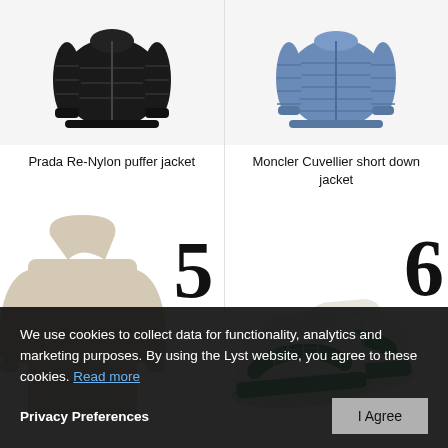[Figure (photo): Prada Re-Nylon puffer jacket, black, product photo]
Prada Re-Nylon puffer jacket
[Figure (photo): Moncler Cuvellier short down jacket, blue, product photo]
Moncler Cuvellier short down jacket
[Figure (photo): Fear of God Essentials Hoodie, beige, product photo with number 5]
[Figure (photo): Off-White Out of Office sneakers, white and green, product photo with number 6]
We use cookies to collect data for functionality, analytics and marketing purposes. By using the Lyst website, you agree to these cookies. Read more
Privacy Preferences
I Agree